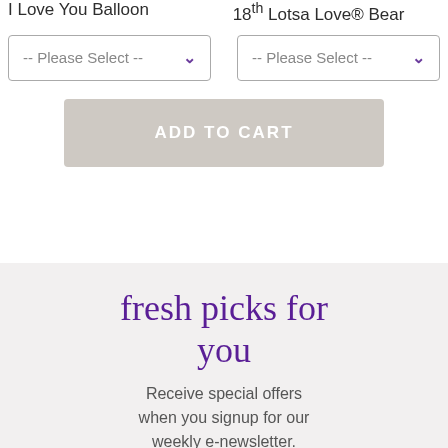I Love You Balloon
18" Lotsa Love® Bear
-- Please Select --
-- Please Select --
ADD TO CART
fresh picks for you
Receive special offers when you signup for our weekly e-newsletter.